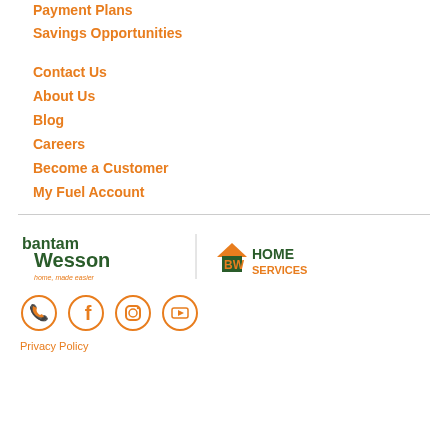Payment Plans
Savings Opportunities
Contact Us
About Us
Blog
Careers
Become a Customer
My Fuel Account
[Figure (logo): Bantam Wesson logo with tagline 'home, made easier' and BW Home Services logo]
[Figure (illustration): Social media icons: phone, Facebook, Instagram, YouTube — all in orange circles]
Privacy Policy